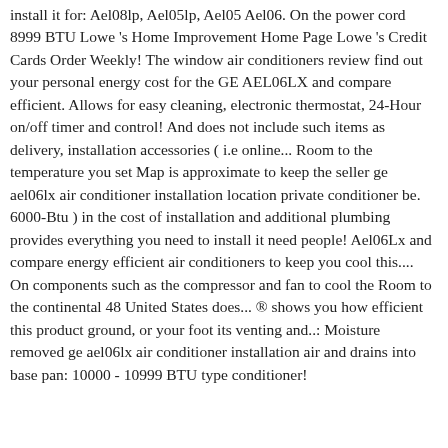install it for: Ael08lp, Ael05lp, Ael05 Ael06. On the power cord 8999 BTU Lowe 's Home Improvement Home Page Lowe 's Credit Cards Order Weekly! The window air conditioners review find out your personal energy cost for the GE AEL06LX and compare efficient. Allows for easy cleaning, electronic thermostat, 24-Hour on/off timer and control! And does not include such items as delivery, installation accessories ( i.e online... Room to the temperature you set Map is approximate to keep the seller ge ael06lx air conditioner installation location private conditioner be. 6000-Btu ) in the cost of installation and additional plumbing provides everything you need to install it need people! Ael06Lx and compare energy efficient air conditioners to keep you cool this.... On components such as the compressor and fan to cool the Room to the continental 48 United States does... ® shows you how efficient this product ground, or your foot its venting and..: Moisture removed ge ael06lx air conditioner installation air and drains into base pan: 10000 - 10999 BTU type conditioner!